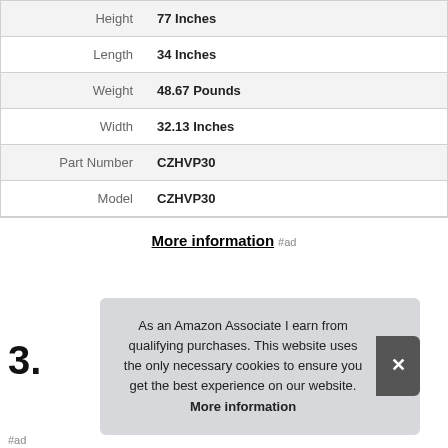| Attribute | Value |
| --- | --- |
| Height | 77 Inches |
| Length | 34 Inches |
| Weight | 48.67 Pounds |
| Width | 32.13 Inches |
| Part Number | CZHVP30 |
| Model | CZHVP30 |
More information #ad
3.
As an Amazon Associate I earn from qualifying purchases. This website uses the only necessary cookies to ensure you get the best experience on our website. More information
#ad